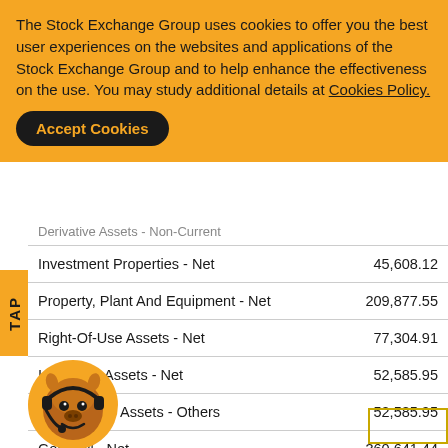The Stock Exchange Group uses cookies to offer you the best user experiences on the websites and applications of the Stock Exchange Group and to help enhance the effectiveness on the use. You may study additional details at Cookies Policy.
| Item | Value |
| --- | --- |
| Derivative Assets - Non-Current |  |
| Investment Properties - Net | 45,608.12 |
| Property, Plant And Equipment - Net | 209,877.55 |
| Right-Of-Use Assets - Net | 77,304.91 |
| Intangible Assets - Net | 52,585.95 |
| Intangible Assets - Others | 52,585.95 |
| Goodwill - Net | 360,641.44 |
| Tax Assets | 2,412.38 |
| Other Non-Current Assets | 2,619.88 |
| Other Non-Current Assets - Others | 2,619.88 |